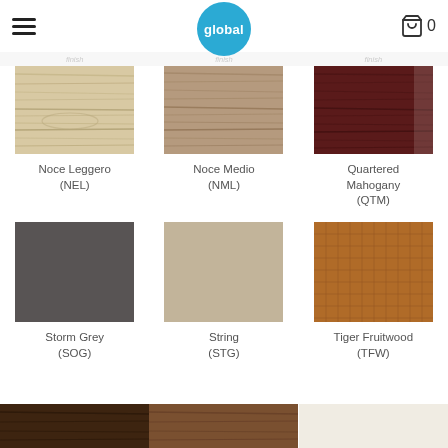global — Cart 0
[Figure (photo): Noce Leggero (NEL) wood finish swatch — light beige/tan wood grain]
Noce Leggero
(NEL)
[Figure (photo): Noce Medio (NML) wood finish swatch — medium warm brown wood grain]
Noce Medio
(NML)
[Figure (photo): Quartered Mahogany (QTM) finish swatch — deep dark reddish-brown wood]
Quartered Mahogany
(QTM)
[Figure (photo): Storm Grey (SOG) finish swatch — solid dark grey]
Storm Grey
(SOG)
[Figure (photo): String (STG) finish swatch — solid light greige/warm beige]
String
(STG)
[Figure (photo): Tiger Fruitwood (TFW) finish swatch — warm medium brown with subtle grid/quilted texture]
Tiger Fruitwood
(TFW)
[Figure (photo): Bottom partial row showing three more finish swatches (dark brown wood, medium brown, off-white/cream)]